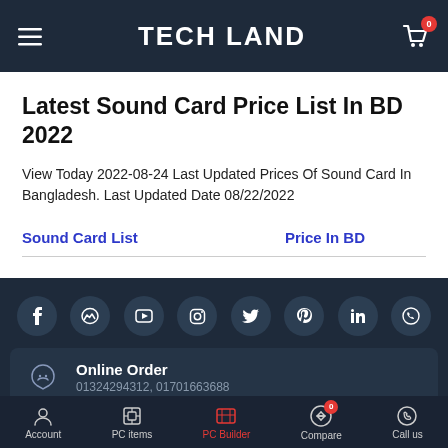TECH LAND
Latest Sound Card Price List In BD 2022
View Today 2022-08-24 Last Updated Prices Of Sound Card In Bangladesh. Last Updated Date 08/22/2022
| Sound Card List | Price In BD |
| --- | --- |
[Figure (screenshot): Dark footer section with social media icons (Facebook, Messenger, YouTube, Instagram, Twitter, Pinterest, LinkedIn, WhatsApp), Online Order contact info (01324294312, 01701663688), Corporate Deals contact info (01324294319), and a Filter button]
Account | PC items | PC Builder | Compare | Call us